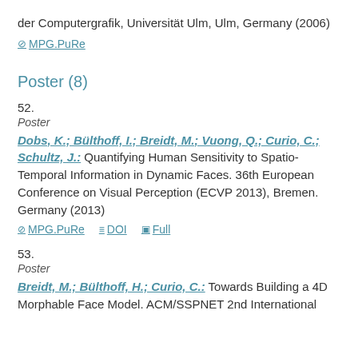der Computergrafik, Universität Ulm, Ulm, Germany (2006)
⊘ MPG.PuRe
Poster (8)
52.
Poster
Dobs, K.; Bülthoff, I.; Breidt, M.; Vuong, Q.; Curio, C.; Schultz, J.: Quantifying Human Sensitivity to Spatio-Temporal Information in Dynamic Faces. 36th European Conference on Visual Perception (ECVP 2013), Bremen. Germany (2013)
⊘ MPG.PuRe  ≡ DOI  ▣ Full
53.
Poster
Breidt, M.; Bülthoff, H.; Curio, C.: Towards Building a 4D Morphable Face Model. ACM/SSPNET 2nd International